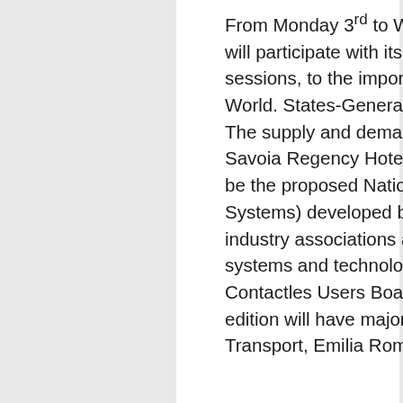From Monday 3rd to Wednesday, December 5th, 2012, Thetis will participate with its own stand and two reports in different sessions, to the important National Conference on “The New World. States-General of ITS for mobility management in Italy. The supply and demand meet” to be held in Bologna at the Savoia Regency Hotel. The central theme of the conference will be the proposed National Plan on ITS (Intelligent Transport Systems) developed by TTS Italy in collaboration with leading industry associations and, in particular, with regard to payment systems and technologies of the LPT, with CLUB ITALY Contactles Users Board. The conference now in its second edition will have major institutional participants (Ministry of Transport, Emilia Romagna Region, the Municipality